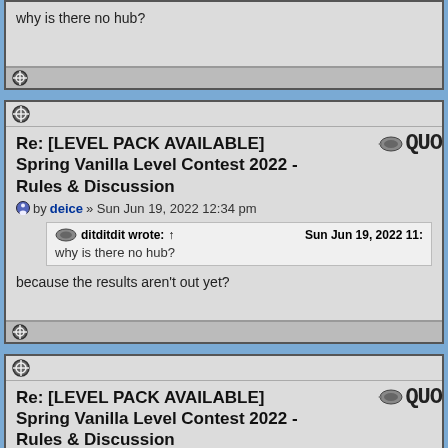why is there no hub?
Re: [LEVEL PACK AVAILABLE] Spring Vanilla Level Contest 2022 - Rules & Discussion
by deice » Sun Jun 19, 2022 12:34 pm
ditditdit wrote: ↑   Sun Jun 19, 2022 11:  why is there no hub?
because the results aren't out yet?
Re: [LEVEL PACK AVAILABLE] Spring Vanilla Level Contest 2022 - Rules & Discussion
by Alagirez » Tue Jun 21, 2022 8:13 am